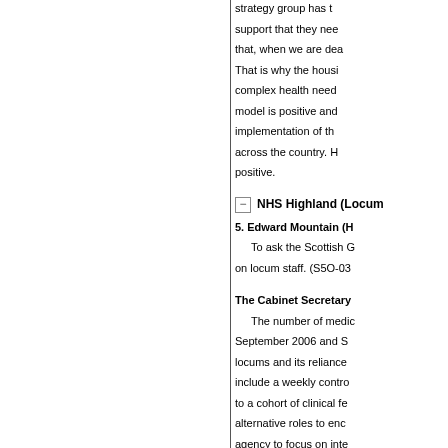The data that Moni... strategy group has t... support that they nee... that, when we are dea... That is why the housi... complex health need... model is positive and... implementation of th... across the country. H... positive.
NHS Highland (Locum...
5. Edward Mountain (H... To ask the Scottish G... on locum staff. (S5O-03...
The Cabinet Secretary... The number of medic... September 2006 and S... locums and its reliance... include a weekly contro... to a cohort of clinical fe... alternative roles to enc... agency to focus on inte... emulate the success of...